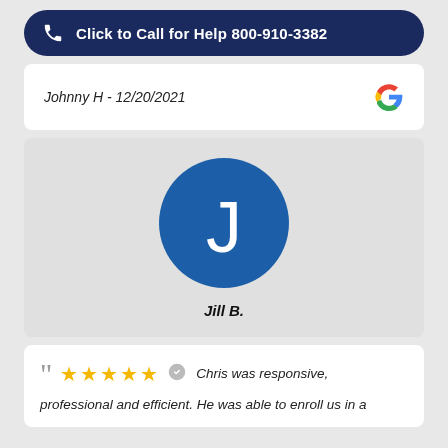Click to Call for Help 800-910-3382
Johnny H - 12/20/2021
[Figure (illustration): Blue circle avatar with white letter J, representing reviewer Jill B.]
Jill B.
Chris was responsive, professional and efficient. He was able to enroll us in a